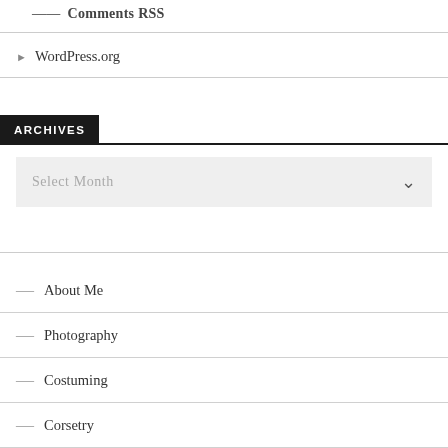Comments RSS
WordPress.org
ARCHIVES
Select Month
About Me
Photography
Costuming
Corsetry
R...